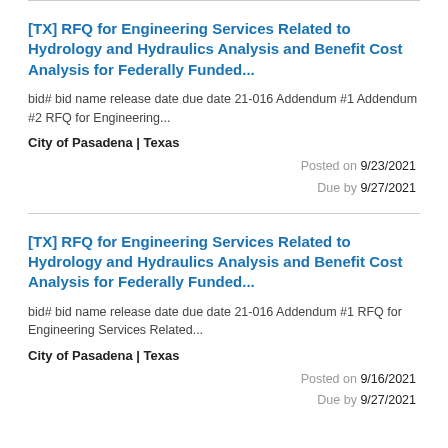[TX] RFQ for Engineering Services Related to Hydrology and Hydraulics Analysis and Benefit Cost Analysis for Federally Funded...
bid# bid name release date due date 21-016 Addendum #1 Addendum #2 RFQ for Engineering...
City of Pasadena | Texas
Posted on 9/23/2021
Due by 9/27/2021
[TX] RFQ for Engineering Services Related to Hydrology and Hydraulics Analysis and Benefit Cost Analysis for Federally Funded...
bid# bid name release date due date 21-016 Addendum #1 RFQ for Engineering Services Related...
City of Pasadena | Texas
Posted on 9/16/2021
Due by 9/27/2021